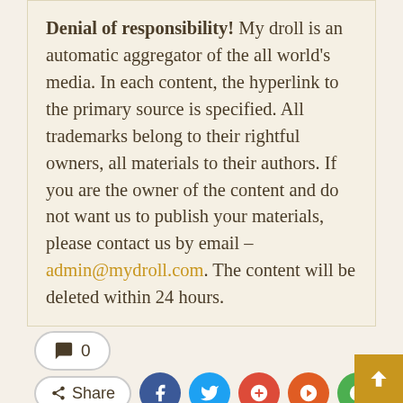Denial of responsibility! My droll is an automatic aggregator of the all world's media. In each content, the hyperlink to the primary source is specified. All trademarks belong to their rightful owners, all materials to their authors. If you are the owner of the content and do not want us to publish your materials, please contact us by email – admin@mydroll.com. The content will be deleted within 24 hours.
0
Share